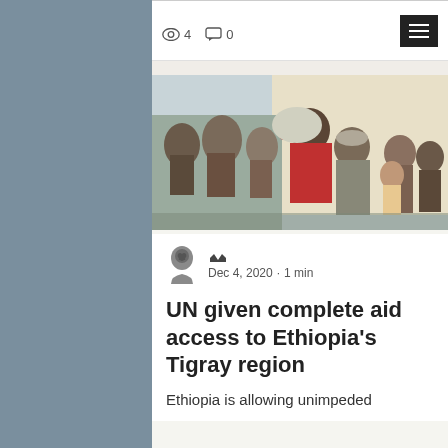👁 4   💬 0
[Figure (photo): A person in a red outfit distributing aid supplies to a crowd of people outdoors]
Dec 4, 2020 · 1 min
UN given complete aid access to Ethiopia's Tigray region
Ethiopia is allowing unimpeded